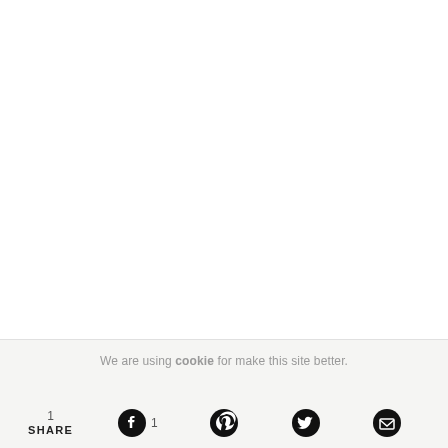We are using cookie for make this site better.
1 SHARE
[Figure (other): Social share icons: Facebook with count 1, Pinterest, Twitter, Email]